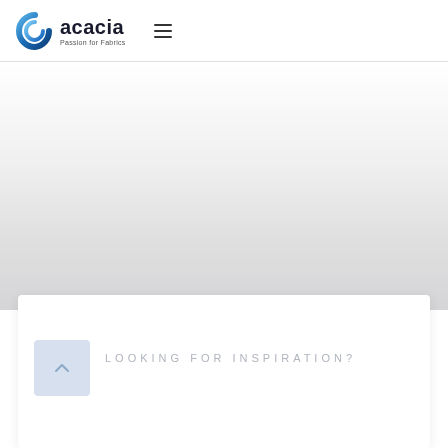acacia — Passion for Fabrics
[Figure (other): Large faded background image area with gradient from white to light gray]
[Figure (other): Arrow up button icon (chevron/caret pointing up) inside light blue square]
LOOKING FOR INSPIRATION?